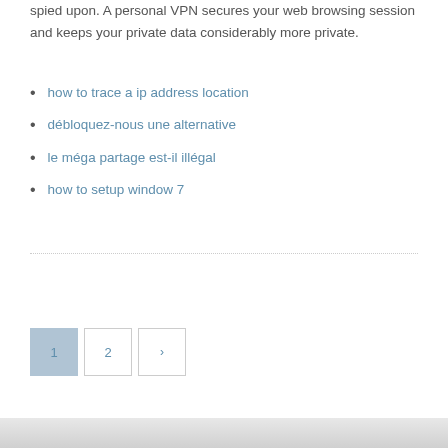spied upon. A personal VPN secures your web browsing session and keeps your private data considerably more private.
how to trace a ip address location
débloquez-nous une alternative
le méga partage est-il illégal
how to setup window 7
Pagination: 1, 2, >